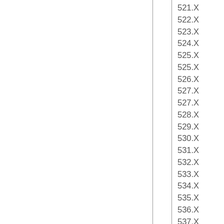|  |  | 521.X |
|  |  | 522.X |
|  |  | 523.X |
|  |  | 524.X |
|  |  | 525.X |
|  |  | 525.X |
|  |  | 526.X |
|  |  | 527.X |
|  |  | 527.X |
|  |  | 528.X |
|  |  | 529.X |
|  |  | 530.X |
|  |  | 531.X |
|  |  | 532.X |
|  |  | 533.X |
|  |  | 534.X |
|  |  | 535.X |
|  |  | 536.X |
|  |  | 537.X |